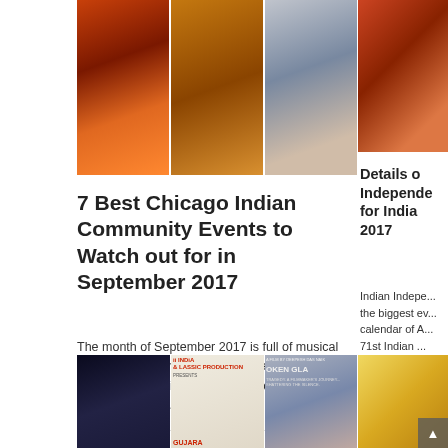[Figure (photo): Three photos of Indian cultural dancers in colorful traditional costumes]
7 Best Chicago Indian Community Events to Watch out for in September 2017
The month of September 2017 is full of musical events and cultural festivals for the Indian community in Chicago. The best of Chicago Indian events in ...
[Figure (photo): Right column: photo of performers in traditional Indian costumes]
Details o... Independe... for India... 2017
Indian Indepe... the biggest ev... calendar of A... 71st Indian ...
[Figure (photo): Bottom left: singer performing on stage, iIndia & Classic Production poster for Gujarat, Broken Glass film poster]
[Figure (photo): Bottom right column: child with colorful background]